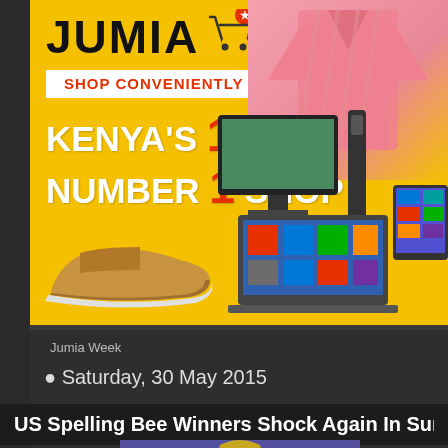[Figure (photo): Jumia advertisement banner on yellow background showing products including laptops, shoes, shirt, and speaker. Text reads JUMIA, SHOP CONVENIENTLY ON, KENYA'S NUMBER 1 ONLINE SHOP]
Jumia Week
Saturday, 30 May 2015
US Spelling Bee Winners Shock Again In Surprising Ti
[Figure (photo): Partial image of a trophy/award on blue/purple background]